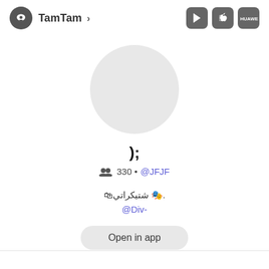TamTam >
[Figure (logo): TamTam app logo — dark circle with white speech bubble icon, followed by app name 'TamTam >' and store buttons for Google Play, Apple App Store, and Huawei AppGallery]
[Figure (photo): Circular user avatar placeholder — light gray circle]
);
👥 330 • @JFJF
.🎭 شتيكراتي🛍
@Div-
Open in app